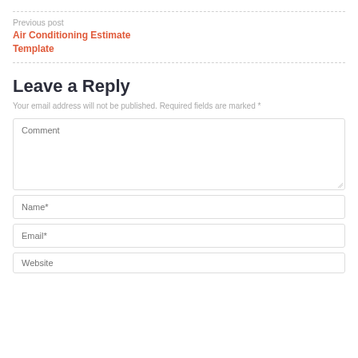Previous post
Air Conditioning Estimate Template
Leave a Reply
Your email address will not be published. Required fields are marked *
Comment
Name*
Email*
Website